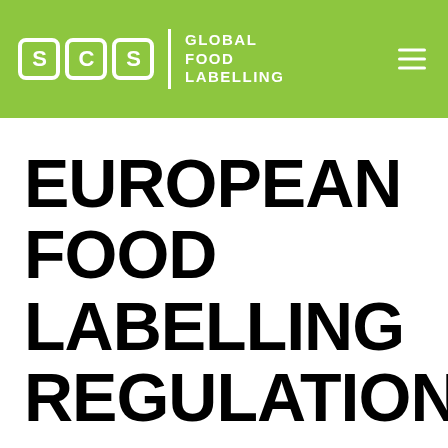SCS GLOBAL FOOD LABELLING
EUROPEAN FOOD LABELLING REGULATIONS